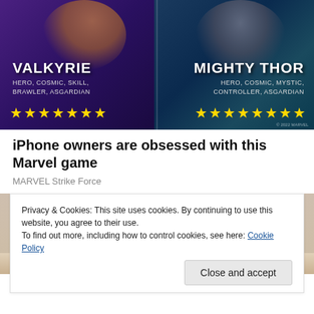[Figure (illustration): Marvel Strike Force game advertisement showing Valkyrie on the left (HERO, COSMIC, SKILL, BRAWLER, ASGARDIAN, 7 stars) and Mighty Thor on the right (HERO, COSMIC, MYSTIC, CONTROLLER, ASGARDIAN, 8 stars) against colorful fantasy backgrounds]
iPhone owners are obsessed with this Marvel game
MARVEL Strike Force
[Figure (photo): Partial photo of a person, mostly obscured by cookie consent banner]
Privacy & Cookies: This site uses cookies. By continuing to use this website, you agree to their use.
To find out more, including how to control cookies, see here: Cookie Policy
Close and accept